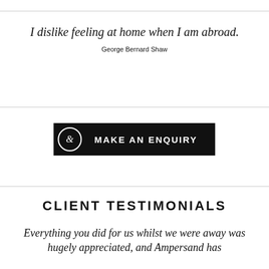I dislike feeling at home when I am abroad.
George Bernard Shaw
[Figure (other): Black button with ampersand icon circle and text MAKE AN ENQUIRY]
CLIENT TESTIMONIALS
Everything you did for us whilst we were away was hugely appreciated, and Ampersand has